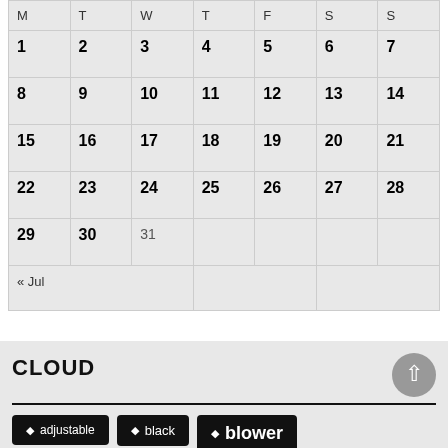| M | T | W | T | F | S | S |
| --- | --- | --- | --- | --- | --- | --- |
| 1 | 2 | 3 | 4 | 5 | 6 | 7 |
| 8 | 9 | 10 | 11 | 12 | 13 | 14 |
| 15 | 16 | 17 | 18 | 19 | 20 | 21 |
| 22 | 23 | 24 | 25 | 26 | 27 | 28 |
| 29 | 30 | 31 |  |  |  |  |
| « Jul |  |  |  |  |  |  |
CLOUD
adjustable
black
blower